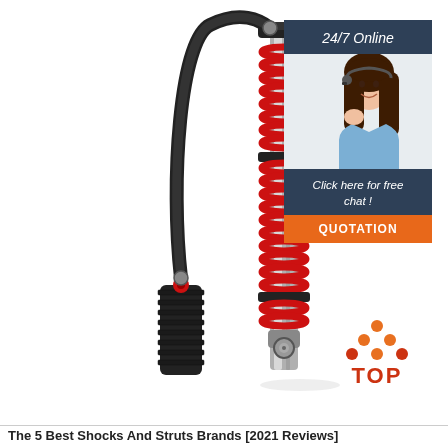[Figure (photo): A red coilover shock absorber with remote reservoir and black hose, on white background]
[Figure (infographic): Advertisement panel: '24/7 Online' header on dark blue background, photo of smiling woman with headset, 'Click here for free chat!' text, and orange QUOTATION button]
[Figure (logo): Orange and red stylized triangle/chevron TOP logo icon]
The 5 Best Shocks And Struts Brands [2021 Reviews]